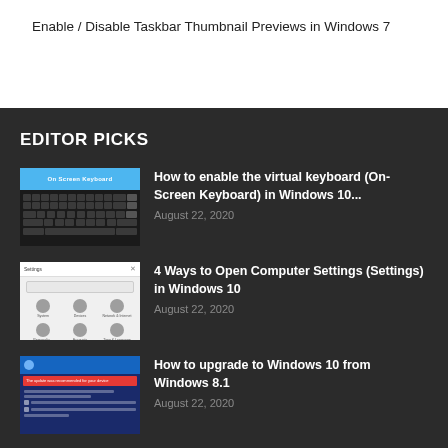Enable / Disable Taskbar Thumbnail Previews in Windows 7
EDITOR PICKS
[Figure (screenshot): Screenshot of On-Screen Keyboard in Windows 10]
How to enable the virtual keyboard (On-Screen Keyboard) in Windows 10...
August 22, 2020
[Figure (screenshot): Screenshot of Windows 10 Settings window]
4 Ways to Open Computer Settings (Settings) in Windows 10
August 22, 2020
[Figure (screenshot): Screenshot of Windows 10 upgrade dialog]
How to upgrade to Windows 10 from Windows 8.1
August 22, 2020